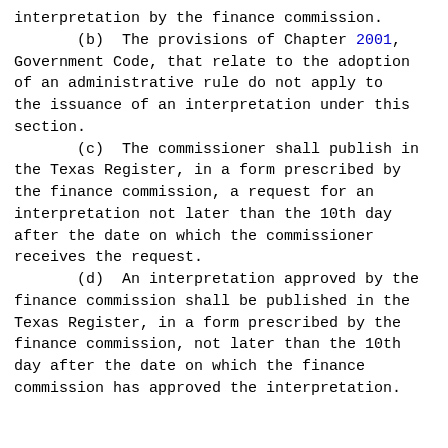interpretation by the finance commission.
(b)  The provisions of Chapter 2001, Government Code, that relate to the adoption of an administrative rule do not apply to the issuance of an interpretation under this section.
(c)  The commissioner shall publish in the Texas Register, in a form prescribed by the finance commission, a request for an interpretation not later than the 10th day after the date on which the commissioner receives the request.
(d)  An interpretation approved by the finance commission shall be published in the Texas Register, in a form prescribed by the finance commission, not later than the 10th day after the date on which the finance commission has approved the interpretation.